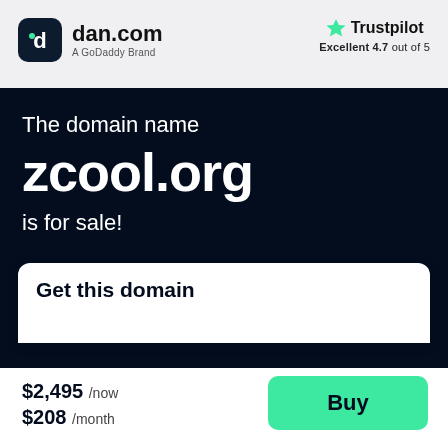[Figure (logo): dan.com logo — rounded square dark icon with 'd' letter and 'dan.com' text, subtitle 'A GoDaddy Brand']
[Figure (logo): Trustpilot logo with green star, text 'Trustpilot', subtitle 'Excellent 4.7 out of 5']
The domain name
zcool.org
is for sale!
Get this domain
$2,495 /now
$208 /month
Buy